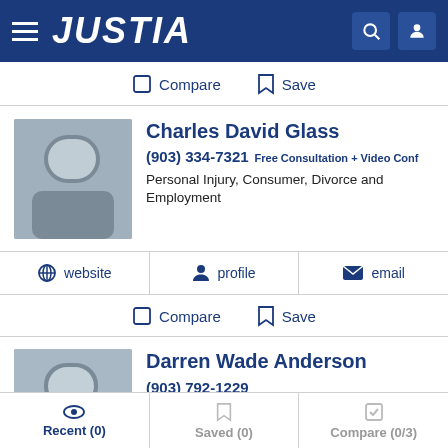JUSTIA
Compare  Save
Charles David Glass
(903) 334-7321  Free Consultation + Video Conf
Personal Injury, Consumer, Divorce and Employment
website  profile  email
Compare  Save
Darren Wade Anderson
(903) 792-1229
Personal Injury, Construction, Criminal and Divorce
Recent (0)  Saved (0)  Compare (0/3)